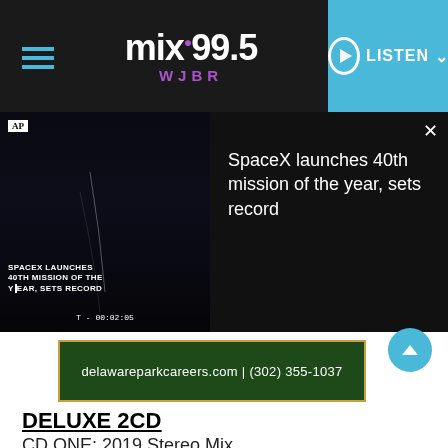mix99.5 WJBR — LISTEN
[Figure (screenshot): AP video thumbnail showing SpaceX launch with text overlay 'SPACEX LAUNCHES 40TH MISSION OF THE YEAR, SETS RECORD' and timer T-00:02:05]
SpaceX launches 40th mission of the year, sets record
[Figure (infographic): Advertisement banner: delawareparkcareers.com | (302) 355-1037]
DELUXE 2CD
CD ONE: 2019 Stereo Mix